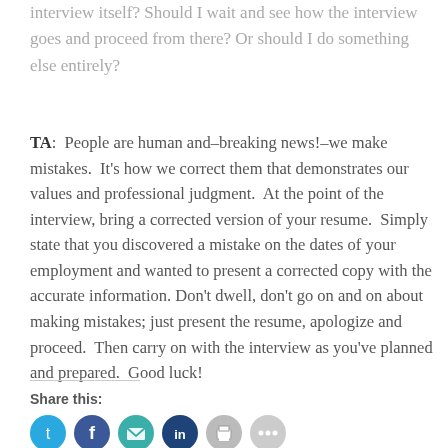interview itself? Should I wait and see how the interview goes and proceed from there? Or should I do something else entirely?
TA:  People are human and–breaking news!–we make mistakes.  It's how we correct them that demonstrates our values and professional judgment.  At the point of the interview, bring a corrected version of your resume.  Simply state that you discovered a mistake on the dates of your employment and wanted to present a corrected copy with the accurate information. Don't dwell, don't go on and on about making mistakes; just present the resume, apologize and proceed.  Then carry on with the interview as you've planned and prepared.  Good luck!
Share this: